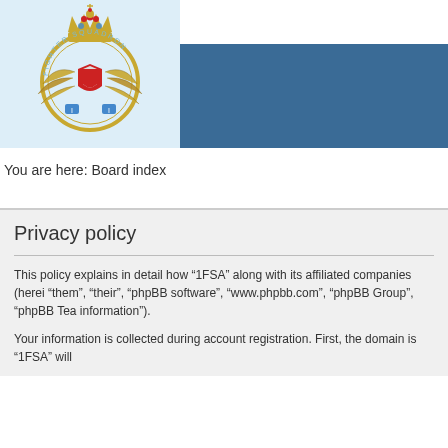[Figure (logo): Fighter Squadron military crest/badge with crown on top, wings and shield in circular design, light blue background]
[Figure (other): Dark blue horizontal banner/navigation bar]
You are here: Board index
Privacy policy
This policy explains in detail how “1FSA” along with its affiliated companies (herei “them”, “their”, “phpBB software”, “www.phpbb.com”, “phpBB Group”, “phpBB Tea information”).
Your information is collected during account registration. First, the domain is “1FSA” will...